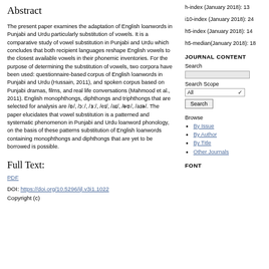Abstract
The present paper examines the adaptation of English loanwords in Punjabi and Urdu particularly substitution of vowels. It is a comparative study of vowel substitution in Punjabi and Urdu which concludes that both recipient languages reshape English vowels to the closest available vowels in their phonemic inventories. For the purpose of determining the substitution of vowels, two corpora have been used: questionnaire-based corpus of English loanwords in Punjabi and Urdu (Hussain, 2011), and spoken corpus based on Punjabi dramas, films, and real life conversations (Mahmood et al., 2011). English monophthongs, diphthongs and triphthongs that are selected for analysis are /ɒ/, /ɔː/, /ɜː/, /eɪ/, /aɪ/, /əʊ/, /aɪə/. The paper elucidates that vowel substitution is a patterned and systematic phenomenon in Punjabi and Urdu loanword phonology, on the basis of these patterns substitution of English loanwords containing monophthongs and diphthongs that are yet to be borrowed is possible.
Full Text:
PDF
DOI: https://doi.org/10.5296/ijl.v3i1.1022
Copyright (c)
h-index (January 2018): 13
i10-index (January 2018): 24
h5-index (January 2018): 14
h5-median(January 2018): 18
JOURNAL CONTENT
Search
Search Scope
Browse
By Issue
By Author
By Title
Other Journals
FONT